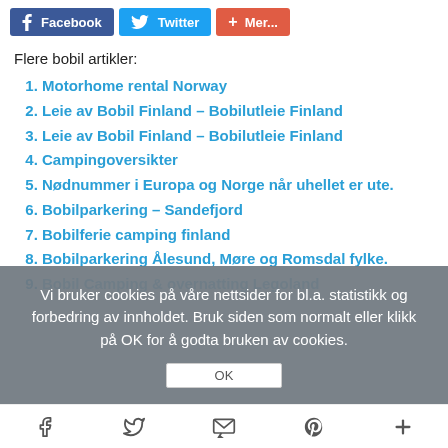[Figure (infographic): Social share buttons: Facebook (blue), Twitter (light blue), Mer... (red-orange)]
Flere bobil artikler:
Motorhome rental Norway
Leie av Bobil Finland – Bobilutleie Finland
Leie av Bobil Finland – Bobilutleie Finland
Campingoversikter
Nødnummer i Europa og Norge når uhellet er ute.
Bobilparkering – Sandefjord
Bobilferie camping finland
Bobilparkering Ålesund, Møre og Romsdal fylke.
Bobil Camping & overnatting Legoland
Vi bruker cookies på våre nettsider for bl.a. statistikk og forbedring av innholdet. Bruk siden som normalt eller klikk på OK for å godta bruken av cookies.
[Figure (infographic): Footer icon bar with Facebook, Twitter, email, Pinterest, and plus icons]